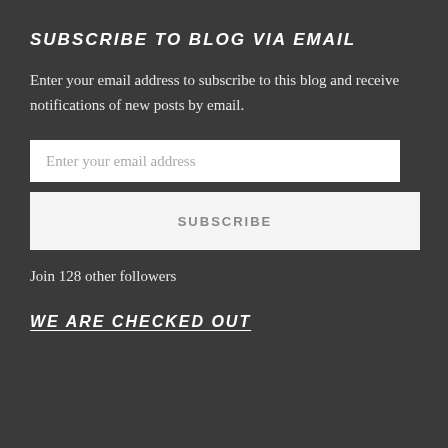SUBSCRIBE TO BLOG VIA EMAIL
Enter your email address to subscribe to this blog and receive notifications of new posts by email.
Enter your email address
SUBSCRIBE
Join 128 other followers
WE ARE CHECKED OUT